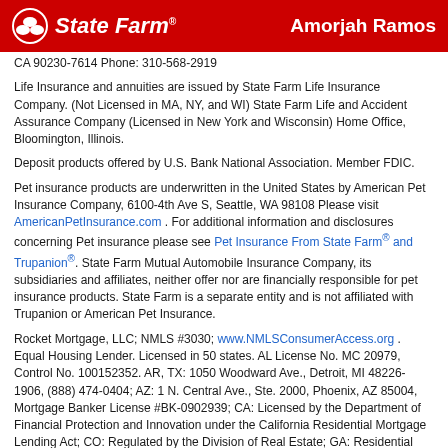State Farm | Amorjah Ramos
CA 90230-7614 Phone: 310-568-2919
Life Insurance and annuities are issued by State Farm Life Insurance Company. (Not Licensed in MA, NY, and WI) State Farm Life and Accident Assurance Company (Licensed in New York and Wisconsin) Home Office, Bloomington, Illinois.
Deposit products offered by U.S. Bank National Association. Member FDIC.
Pet insurance products are underwritten in the United States by American Pet Insurance Company, 6100-4th Ave S, Seattle, WA 98108 Please visit AmericanPetInsurance.com . For additional information and disclosures concerning Pet insurance please see Pet Insurance From State Farm® and Trupanion®. State Farm Mutual Automobile Insurance Company, its subsidiaries and affiliates, neither offer nor are financially responsible for pet insurance products. State Farm is a separate entity and is not affiliated with Trupanion or American Pet Insurance.
Rocket Mortgage, LLC; NMLS #3030; www.NMLSConsumerAccess.org . Equal Housing Lender. Licensed in 50 states. AL License No. MC 20979, Control No. 100152352. AR, TX: 1050 Woodward Ave., Detroit, MI 48226-1906, (888) 474-0404; AZ: 1 N. Central Ave., Ste. 2000, Phoenix, AZ 85004, Mortgage Banker License #BK-0902939; CA: Licensed by the Department of Financial Protection and Innovation under the California Residential Mortgage Lending Act; CO: Regulated by the Division of Real Estate; GA: Residential Mortgage Licensee #11704; IL: Residential Mortgage Licensee #4127 – Dept. of Financial and Professional Regulation; KS: Licensed Mortgage Company